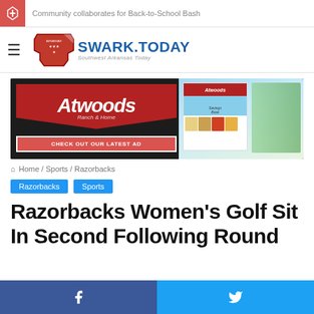Community collaborates for Back-to-School Bash
[Figure (logo): Swark.Today - Southwest Arkansas Today logo with Arkansas state shape in red]
[Figure (illustration): Atwoods Ranch & Home advertisement banner - CHECK OUT OUR LATEST AD]
Home / Sports / Razorbacks
Razorbacks Sports
Razorbacks Women's Golf Sit In Second Following Round